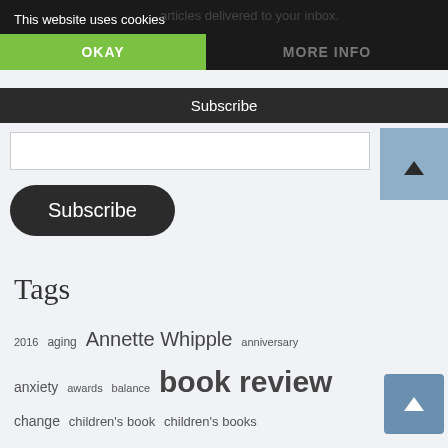This website uses cookies
OKAY
MORE INFO
Subscribe
Subscribe
Tags
2016  aging  Annette Whipple  anniversary  anxiety  awards  balance  book review  change  children's book  children's books  college  death  depression  dogs  empty nest  family  family history  food  insecurity  forgiveness  friendship  Girl